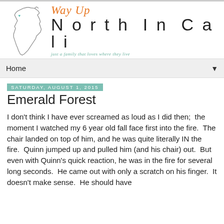[Figure (logo): Way Up North In Cali blog logo with California state outline and script/sans-serif text]
Home ▼
Saturday, August 1, 2015
Emerald Forest
I don't think I have ever screamed as loud as I did then;  the moment I watched my 6 year old fall face first into the fire.  The chair landed on top of him, and he was quite literally IN the fire.  Quinn jumped up and pulled him (and his chair) out.  But even with Quinn's quick reaction, he was in the fire for several long seconds.  He came out with only a scratch on his finger.  It doesn't make sense.  He should have